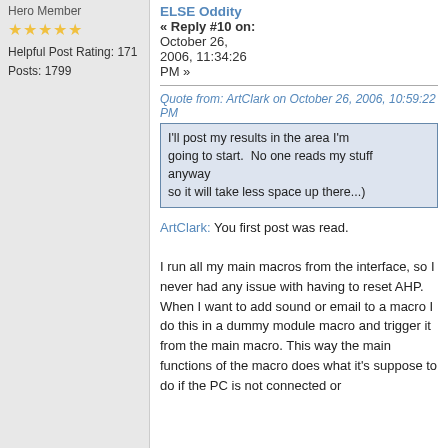Hero Member
★★★★★
Helpful Post Rating: 171
Posts: 1799
ELSE Oddity
« Reply #10 on: October 26, 2006, 11:34:26 PM »
Quote from: ArtClark on October 26, 2006, 10:59:22 PM
I'll post my results in the area I'm going to start.  No one reads my stuff anyway
so it will take less space up there...)
ArtClark: You first post was read.
I run all my main macros from the interface, so I never had any issue with having to reset AHP. When I want to add sound or email to a macro I do this in a dummy module macro and trigger it from the main macro. This way the main functions of the macro does what it's suppose to do if the PC is not connected or